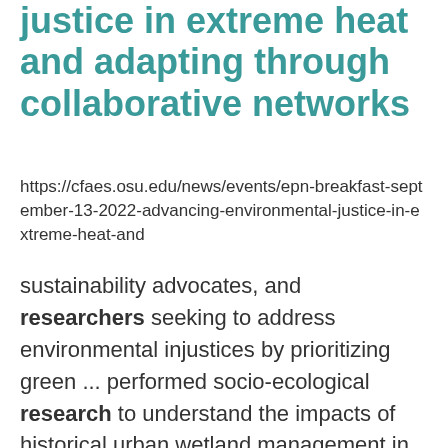justice in extreme heat and adapting through collaborative networks
https://cfaes.osu.edu/news/events/epn-breakfast-september-13-2022-advancing-environmental-justice-in-extreme-heat-and
sustainability advocates, and researchers seeking to address environmental injustices by prioritizing green ... performed socio-ecological research to understand the impacts of historical urban wetland management in ... accessibility patterns in relation to local demographics. Eventually she carried her research to study ...